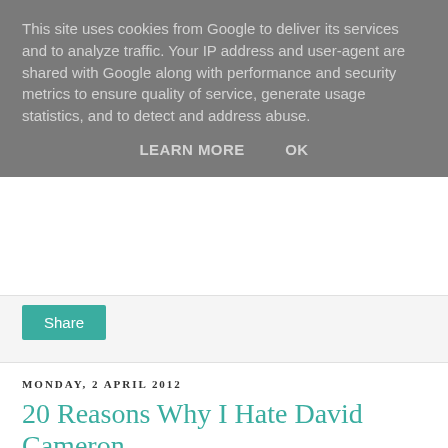This site uses cookies from Google to deliver its services and to analyze traffic. Your IP address and user-agent are shared with Google along with performance and security metrics to ensure quality of service, generate usage statistics, and to detect and address abuse.
LEARN MORE   OK
Share
MONDAY, 2 APRIL 2012
20 Reasons Why I Hate David Cameron
So, I was checking my blog analytics the other day and I discovered that five people (ok, that's not loads, but still) have found my blog by searching